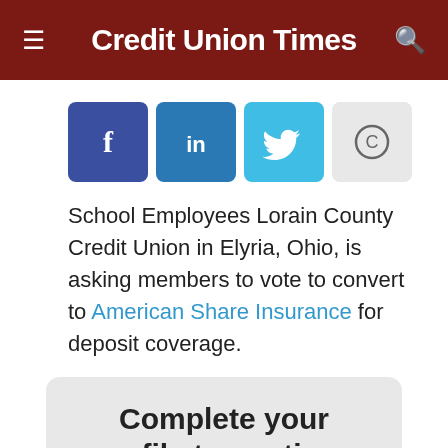Credit Union Times
[Figure (other): Social sharing buttons: Facebook (f), LinkedIn (in), Twitter bird icon, Copy/copyright symbol]
School Employees Lorain County Credit Union in Elyria, Ohio, is asking members to vote to convert to American Share Insurance for deposit coverage.
Complete your profile to continue